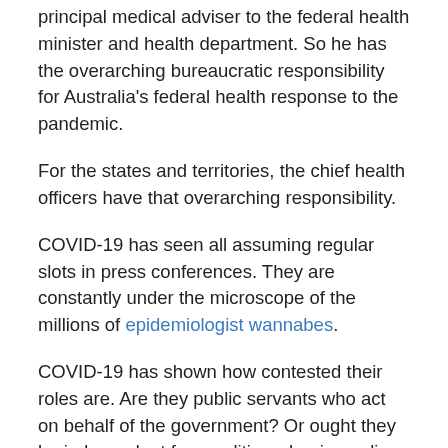principal medical adviser to the federal health minister and health department. So he has the overarching bureaucratic responsibility for Australia's federal health response to the pandemic.
For the states and territories, the chief health officers have that overarching responsibility.
COVID-19 has seen all assuming regular slots in press conferences. They are constantly under the microscope of the millions of epidemiologist wannabes.
COVID-19 has shown how contested their roles are. Are they public servants who act on behalf of the government? Or ought they be independent from politics, shaping policy to protect public health? Or must they balance the contradictions that come with being both a health